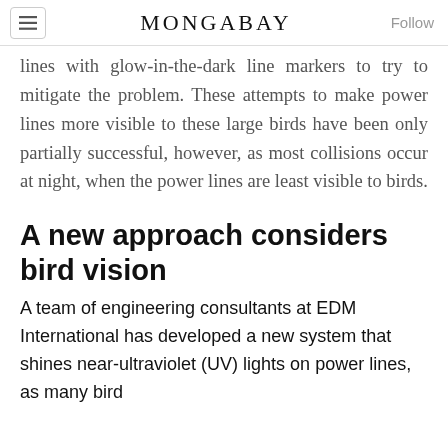MONGABAY
lines with glow-in-the-dark line markers to try to mitigate the problem. These attempts to make power lines more visible to these large birds have been only partially successful, however, as most collisions occur at night, when the power lines are least visible to birds.
A new approach considers bird vision
A team of engineering consultants at EDM International has developed a new system that shines near-ultraviolet (UV) lights on power lines, as many bird